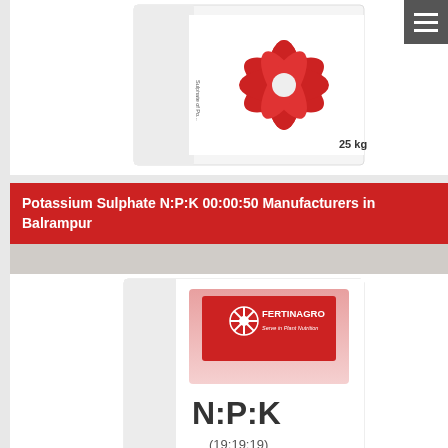[Figure (photo): White 25kg bag of Sulphate of Potash fertilizer with red leaf/flower design on it]
Potassium Sulphate N:P:K 00:00:50 Manufacturers in Balrampur
[Figure (photo): Fertinagro branded N:P:K fertilizer box with pink and white design showing NPK ratio]